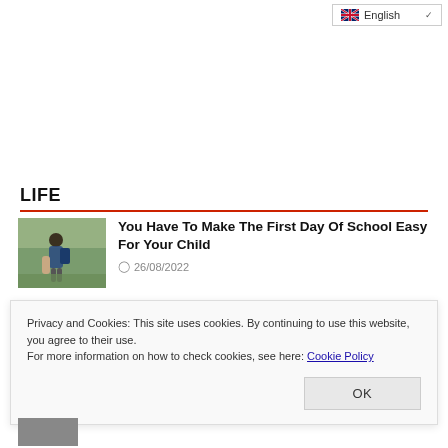English
LIFE
[Figure (photo): Child holding adult hand with backpack, school scene]
You Have To Make The First Day Of School Easy For Your Child
26/08/2022
Privacy and Cookies: This site uses cookies. By continuing to use this website, you agree to their use.
For more information on how to check cookies, see here: Cookie Policy
OK